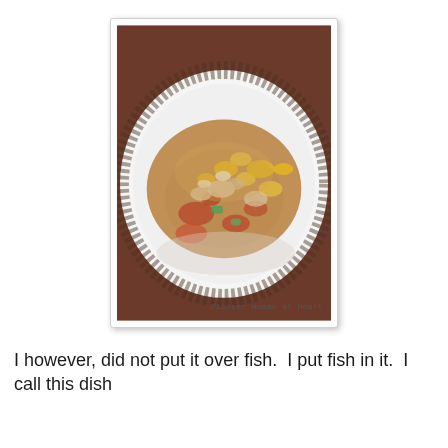[Figure (photo): A plate of food — a casserole-style dish with fish, corn, tomatoes, zucchini, and rice served on a white decorative plate with a floral pattern around the rim. The photo has a watermark reading 'Pioneer Woman at Heart'.]
I however, did not put it over fish.  I put fish in it.  I call this dish